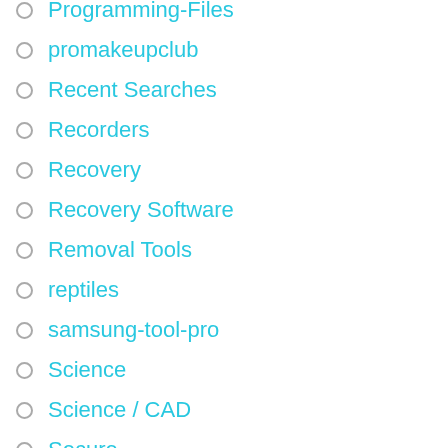Programming-Files
promakeupclub
Recent Searches
Recorders
Recovery
Recovery Software
Removal Tools
reptiles
samsung-tool-pro
Science
Science / CAD
Secure
Secure Browsing
Secure cleaning
Security
Security Related